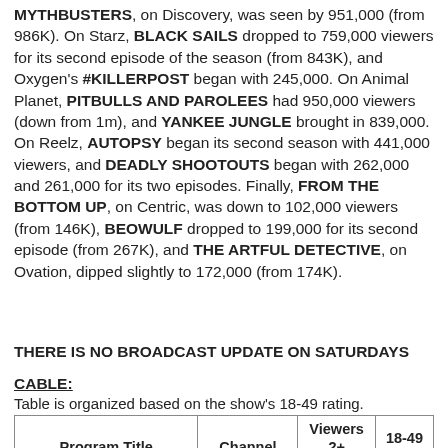MYTHBUSTERS, on Discovery, was seen by 951,000 (from 986K). On Starz, BLACK SAILS dropped to 759,000 viewers for its second episode of the season (from 843K), and Oxygen's #KILLERPOST began with 245,000. On Animal Planet, PITBULLS AND PAROLEES had 950,000 viewers (down from 1m), and YANKEE JUNGLE brought in 839,000. On Reelz, AUTOPSY began its second season with 441,000 viewers, and DEADLY SHOOTOUTS began with 262,000 and 261,000 for its two episodes. Finally, FROM THE BOTTOM UP, on Centric, was down to 102,000 viewers (from 146K), BEOWULF dropped to 199,000 for its second episode (from 267K), and THE ARTFUL DETECTIVE, on Ovation, dipped slightly to 172,000 (from 174K).
THERE IS NO BROADCAST UPDATE ON SATURDAYS
CABLE:
Table is organized based on the show's 18-49 rating.
| Program Title | Channel | Viewers 2+ (millions) | 18-49 Rating |
| --- | --- | --- | --- |